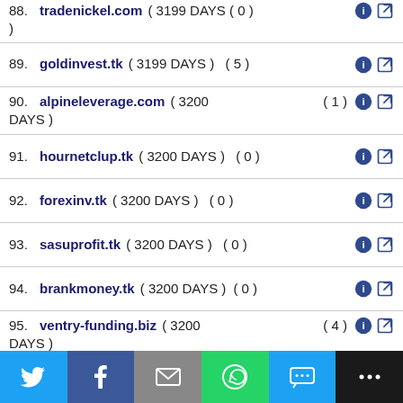88. tradenickel.com ( 3199 DAYS ( 0 ) )
89. goldinvest.tk ( 3199 DAYS ) ( 5 )
90. alpineleverage.com ( 3200 DAYS ) ( 1 )
91. hournetclup.tk ( 3200 DAYS ) ( 0 )
92. forexinv.tk ( 3200 DAYS ) ( 0 )
93. sasuprofit.tk ( 3200 DAYS ) ( 0 )
94. brankmoney.tk ( 3200 DAYS ) ( 0 )
95. ventry-funding.biz ( 3200 DAYS ) ( 4 )
96. australiainv.com ( 3200 DAYS ( 0 ) )
97. brillianceway.com ( 3200 DAYS ) ( 2 )
98. vegafund.biz ( 3200 DAYS ) ( 0 )
99. thebighourly10.com ( 3200 ( 0 )